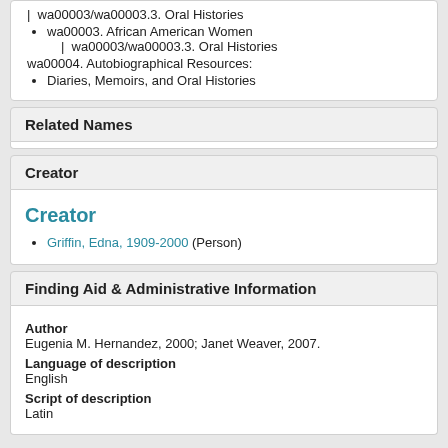| wa00003/wa00003.3. Oral Histories
wa00003. African American Women | wa00003/wa00003.3. Oral Histories
wa00004. Autobiographical Resources:
Diaries, Memoirs, and Oral Histories
Related Names
Creator
Griffin, Edna, 1909-2000 (Person)
Finding Aid & Administrative Information
Author
Eugenia M. Hernandez, 2000; Janet Weaver, 2007.
Language of description
English
Script of description
Latin